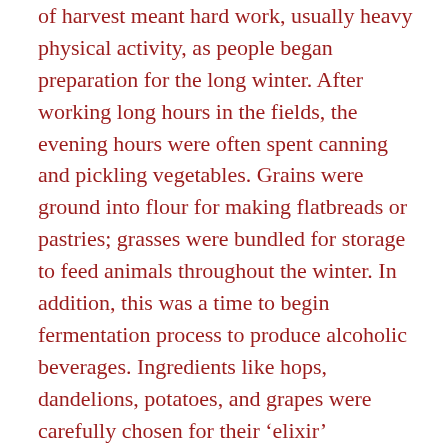of harvest meant hard work, usually heavy physical activity, as people began preparation for the long winter. After working long hours in the fields, the evening hours were often spent canning and pickling vegetables. Grains were ground into flour for making flatbreads or pastries; grasses were bundled for storage to feed animals throughout the winter. In addition, this was a time to begin fermentation process to produce alcoholic beverages. Ingredients like hops, dandelions, potatoes, and grapes were carefully chosen for their 'elixir' properties. Though we now think of alcohol primarily as a beverage for consumption, which has been the primary use throughout history, it was also used as an astringent to treat wounds and disease.

I don't really harvest any of my food products. I just pop in my car and run to the store for my necessities. I still